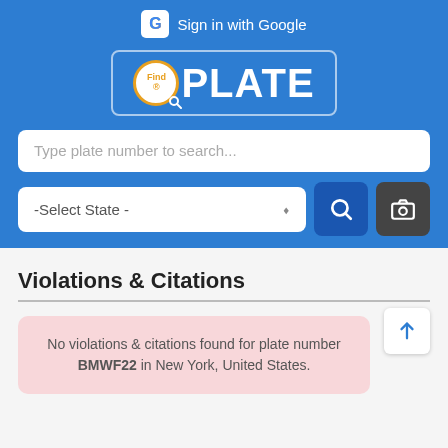[Figure (screenshot): FindPlate app header with blue background, Google sign-in button, FindPlate logo, search bar, state selector, search and camera buttons]
Violations & Citations
No violations & citations found for plate number BMWF22 in New York, United States.